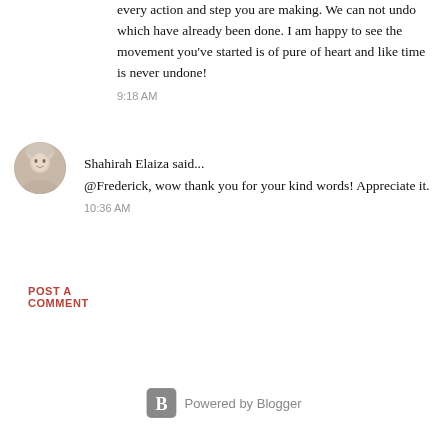every action and step you are making. We can not undo which have already been done. I am happy to see the movement you've started is of pure of heart and like time is never undone!
9:18 AM
Shahirah Elaiza said...
@Frederick, wow thank you for your kind words! Appreciate it.
10:36 AM
POST A COMMENT
Powered by Blogger